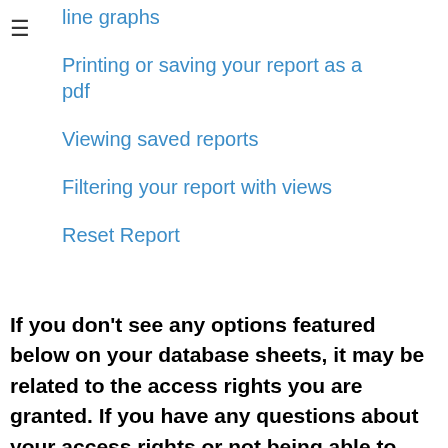line graphs
Printing or saving your report as a pdf
Viewing saved reports
Filtering your report with views
Reset Report
If you don't see any options featured below on your database sheets, it may be related to the access rights you are granted. If you have any questions about your access rights or not being able to view or generate reports, please contact your SYSAdmin of the database to check for the